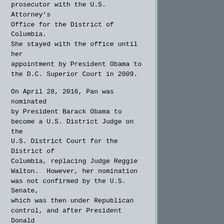prosecutor with the U.S. Attorney's Office for the District of Columbia. She stayed with the office until her appointment by President Obama to the D.C. Superior Court in 2009.
On April 28, 2016, Pan was nominated by President Barack Obama to become a U.S. District Judge on the U.S. District Court for the District of Columbia, replacing Judge Reggie Walton.  However, her nomination was not confirmed by the U.S. Senate, which was then under Republican control, and after President Donald Trump was elected, he nominated Dabney Freidrich to fill the vacancy.
History of the Seat
The seat Pan has been nominated for will open upon the confirmation of Judge Ketanji Jackson to the U.S. Court of Appeals for the D.C. Circuit.